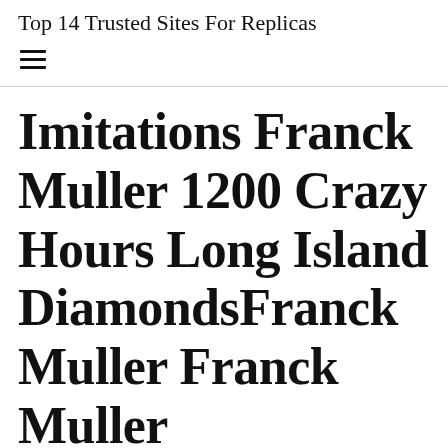Top 14 Trusted Sites For Replicas
Imitations Franck Muller 1200 Crazy Hours Long Island DiamondsFranck Muller Franck Muller Tonokervex Perpetual Calendar 5850QP Black Dial Used Watch Men’s Watches Store